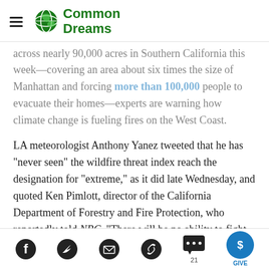Common Dreams
across nearly 90,000 acres in Southern California this week—covering an area about six times the size of Manhattan and forcing more than 100,000 people to evacuate their homes—experts are warning how climate change is fueling fires on the West Coast.
LA meteorologist Anthony Yanez tweeted that he has "never seen" the wildfire threat index reach the designation for "extreme," as it did late Wednesday, and quoted Ken Pimlott, director of the California Department of Forestry and Fire Protection, who reportedly told NBC, "There will be no ability to fight fires in these winds."
Social share icons: Facebook, Twitter, Email, Link, Comments (21), Give